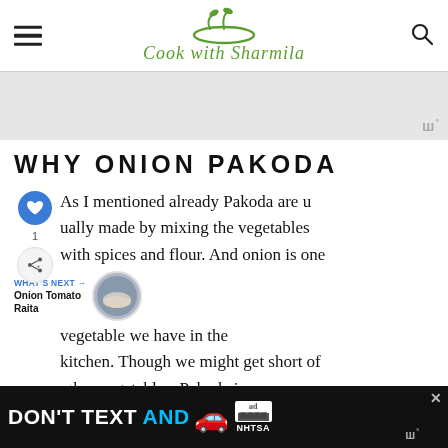Cook with Sharmila
[Figure (other): Advertisement banner placeholder (gray area)]
WHY ONION PAKODA
As I mentioned already Pakoda are usually made by mixing the vegetables with spices and flour. And onion is one vegetable we have in the kitchen. Though we might get short of other vegetables. Pakoda is common. A
[Figure (other): What's Next promo: Onion Tomato Raita with circular food image]
[Figure (other): Bottom advertisement banner: DON'T TEXT AND DRIVE - NHTSA]